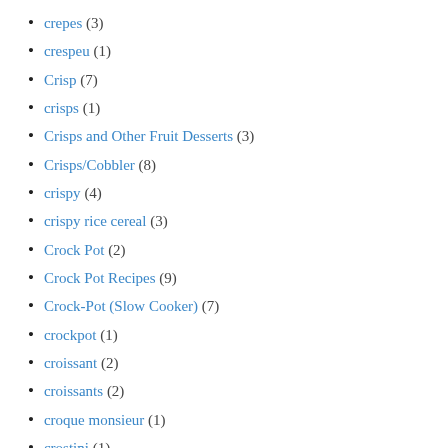crepes (3)
crespeu (1)
Crisp (7)
crisps (1)
Crisps and Other Fruit Desserts (3)
Crisps/Cobbler (8)
crispy (4)
crispy rice cereal (3)
Crock Pot (2)
Crock Pot Recipes (9)
Crock-Pot (Slow Cooker) (7)
crockpot (1)
croissant (2)
croissants (2)
croque monsieur (1)
crostini (1)